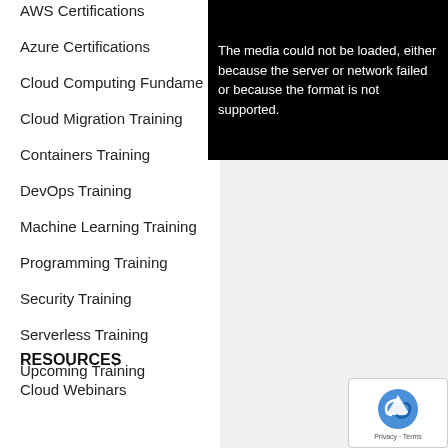AWS Certifications
Azure Certifications
Cloud Computing Fundame…
Cloud Migration Training
Containers Training
DevOps Training
Machine Learning Training
Programming Training
Security Training
Serverless Training
Upcoming Training
[Figure (screenshot): Video player error message on black background: 'The media could not be loaded, either because the server or network failed or because the format is not supported.']
RESOURCES
Cloud Webinars